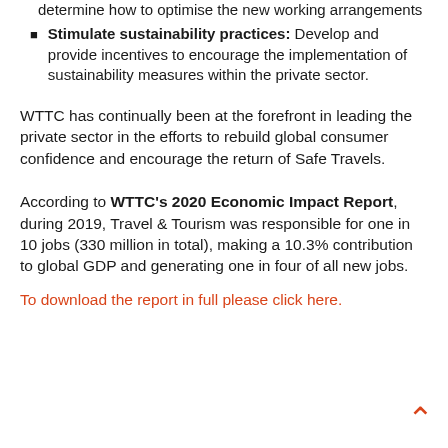determine how to optimise the new working arrangements
Stimulate sustainability practices: Develop and provide incentives to encourage the implementation of sustainability measures within the private sector.
WTTC has continually been at the forefront in leading the private sector in the efforts to rebuild global consumer confidence and encourage the return of Safe Travels.
According to WTTC's 2020 Economic Impact Report, during 2019, Travel & Tourism was responsible for one in 10 jobs (330 million in total), making a 10.3% contribution to global GDP and generating one in four of all new jobs.
To download the report in full please click here.